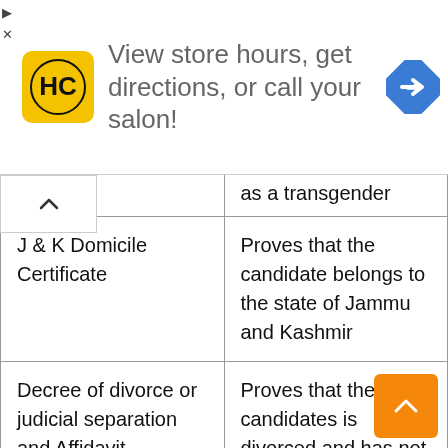[Figure (screenshot): Advertisement banner for Hair Club salon showing HC logo, text 'View store hours, get directions, or call your salon!' and a navigation icon]
| Document | Purpose |
| --- | --- |
| [partial - top cut off] | as a transgender |
| J & K Domicile Certificate | Proves that the candidate belongs to the state of Jammu and Kashmir |
| Decree of divorce or judicial separation and Affidavit mentioning the candidate has not remarried | Proves that the candidates is divorced and has not remarried after the divorce |